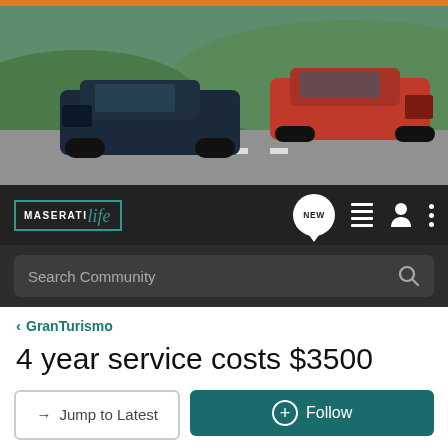[Figure (photo): Two Maserati sports cars (dark blue and red) driving on a road with green hills in the background — banner hero image for MaseratiLife forum]
MaseratiLife (navigation bar with NEW button, list icon, user icon, menu icon)
Search Community
< GranTurismo
4 year service costs $3500
→ Jump to Latest
+ Follow
1 - 20 of 43 Posts
1 of 3
mike567567 · Registered